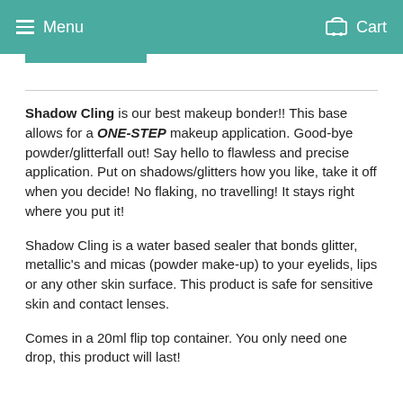Menu   Cart
Shadow Cling is our best makeup bonder!! This base allows for a ONE-STEP makeup application. Good-bye powder/glitterfall out! Say hello to flawless and precise application. Put on shadows/glitters how you like, take it off when you decide! No flaking, no travelling! It stays right where you put it!
Shadow Cling is a water based sealer that bonds glitter, metallic's and micas (powder make-up) to your eyelids, lips or any other skin surface. This product is safe for sensitive skin and contact lenses.
Comes in a 20ml flip top container. You only need one drop, this product will last!